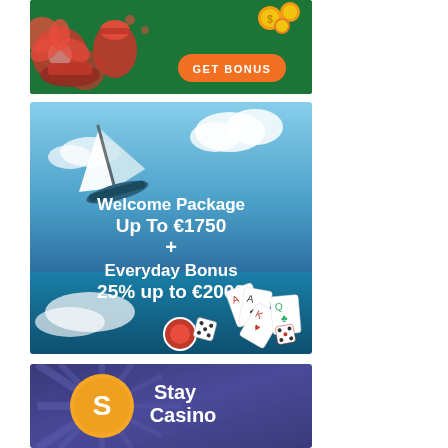[Figure (illustration): Casino bonus banner with red flowers, golden coins on green background and an orange 'GET BONUS' button]
[Figure (illustration): Casino welcome package banner with sailboat, blue sky, playing cards and dice. Text reads: Welcome Package Up To €1750 + Everyday Bonus 25% up to €2000]
[Figure (illustration): Stay Casino logo banner with blue/purple starburst background, yellow circle logo with S letter and white text 'Stay Casino']